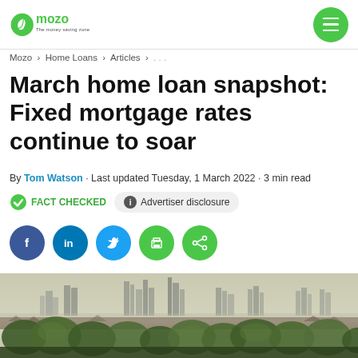Mozo · The money saving zone
Mozo > Home Loans > Articles > ...
March home loan snapshot: Fixed mortgage rates continue to soar
By Tom Watson · Last updated Tuesday, 1 March 2022 · 3 min read
FACT CHECKED   Advertiser disclosure
[Figure (other): Social share buttons: Facebook, LinkedIn, Twitter, Print, Share]
[Figure (photo): Aerial cityscape photo of Melbourne skyline with trees and suburbs in the foreground, hazy sky]